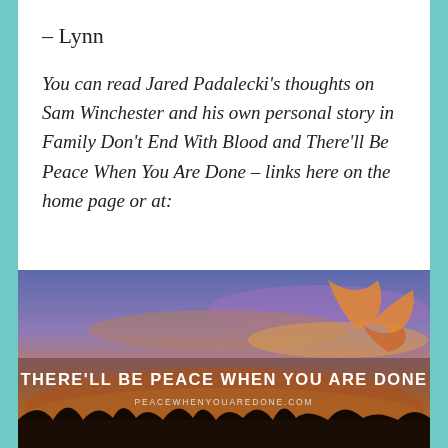– Lynn
You can read Jared Padalecki's thoughts on Sam Winchester and his own personal story in Family Don't End With Blood and There'll Be Peace When You Are Done – links here on the home page or at:
[Figure (photo): Sunset sky photo with text overlay reading 'THERE'LL BE PEACE WHEN YOU ARE DONE' and 'PEACEWHENYOUAREDONE.COM', with orange/purple sunset colors and silhouette of trees at bottom]